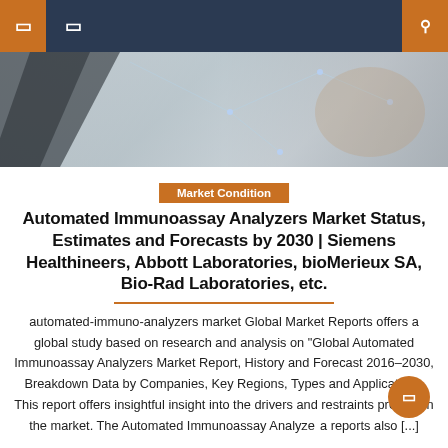Navigation bar with menu icons
[Figure (photo): Hero banner image showing a hand with a digital/network background in blue-grey tones]
Market Condition
Automated Immunoassay Analyzers Market Status, Estimates and Forecasts by 2030 | Siemens Healthineers, Abbott Laboratories, bioMerieux SA, Bio-Rad Laboratories, etc.
automated-immuno-analyzers market Global Market Reports offers a global study based on research and analysis on "Global Automated Immunoassay Analyzers Market Report, History and Forecast 2016-2030, Breakdown Data by Companies, Key Regions, Types and Application". This report offers insightful insight into the drivers and restraints present in the market. The Automated Immunoassay Analyzer a reports also [...]